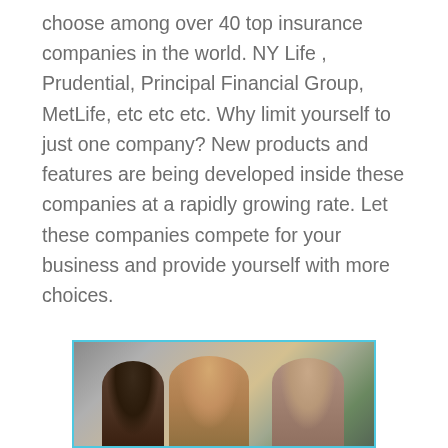choose among over 40 top insurance companies in the world. NY Life , Prudential, Principal Financial Group, MetLife, etc etc etc. Why limit yourself to just one company? New products and features are being developed inside these companies at a rapidly growing rate. Let these companies compete for your business and provide yourself with more choices.
[Figure (photo): Photo of three people (two women and an older man) appearing to be in a consultation or meeting, with a blue border frame around the image.]